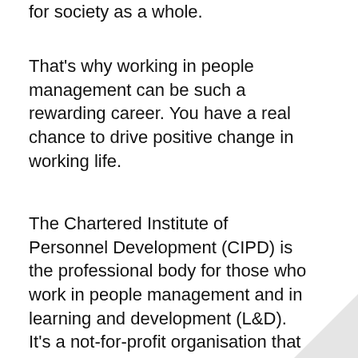for society as a whole.
That's why working in people management can be such a rewarding career. You have a real chance to drive positive change in working life.
The Chartered Institute of Personnel Development (CIPD) is the professional body for those who work in people management and in learning and development (L&D). It's a not-for-profit organisation that